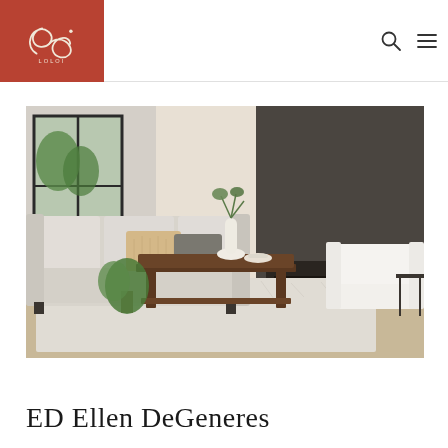LOLOI
[Figure (photo): Living room interior styled with a light beige sofa, decorative pillows, a dark wood coffee table with a vase and decorative bowl, a white armchair, a modern fireplace with dark surround, floor plants, and a patterned area rug.]
ED Ellen DeGeneres